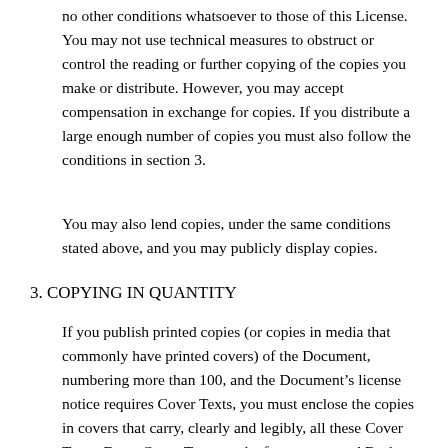no other conditions whatsoever to those of this License. You may not use technical measures to obstruct or control the reading or further copying of the copies you make or distribute. However, you may accept compensation in exchange for copies. If you distribute a large enough number of copies you must also follow the conditions in section 3.
You may also lend copies, under the same conditions stated above, and you may publicly display copies.
3. COPYING IN QUANTITY
If you publish printed copies (or copies in media that commonly have printed covers) of the Document, numbering more than 100, and the Document’s license notice requires Cover Texts, you must enclose the copies in covers that carry, clearly and legibly, all these Cover Texts: Front-Cover Texts on the front cover, and Back-Cover Texts on the back cover. Both covers must also clearly and legibly identify you as the publisher of these copies. The front cover must present the full title with all